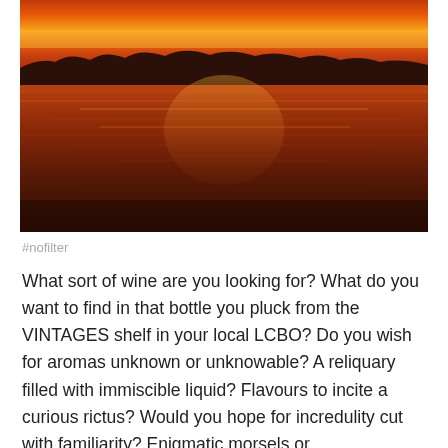[Figure (photo): Sunset over a large body of water with vivid orange, red, and yellow sky reflected on the calm rippling water surface, with a dark silhouetted treeline on the horizon.]
#nofilter
What sort of wine are you looking for? What do you want to find in that bottle you pluck from the VINTAGES shelf in your local LCBO? Do you wish for aromas unknown or unknowable? A reliquary filled with immiscible liquid? Flavours to incite a curious rictus? Would you hope for incredulity cut with familiarity? Enigmatic morsels or